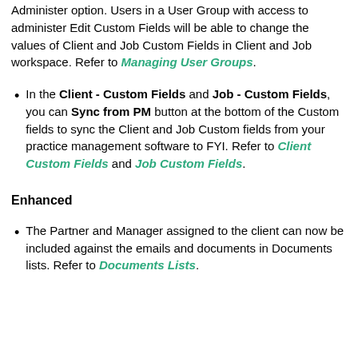Administer option. Users in a User Group with access to administer Edit Custom Fields will be able to change the values of Client and Job Custom Fields in Client and Job workspace. Refer to Managing User Groups.
In the Client - Custom Fields and Job - Custom Fields, you can Sync from PM button at the bottom of the Custom fields to sync the Client and Job Custom fields from your practice management software to FYI. Refer to Client Custom Fields and Job Custom Fields.
Enhanced
The Partner and Manager assigned to the client can now be included against the emails and documents in Documents lists. Refer to Documents Lists.